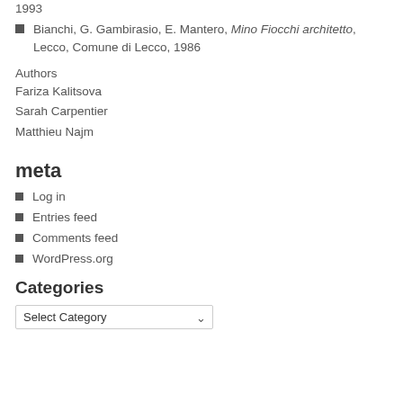Bianchi, G. Gambirasio, E. Mantero, Mino Fiocchi architetto, Lecco, Comune di Lecco, 1986
Authors
Fariza Kalitsova
Sarah Carpentier
Matthieu Najm
meta
Log in
Entries feed
Comments feed
WordPress.org
Categories